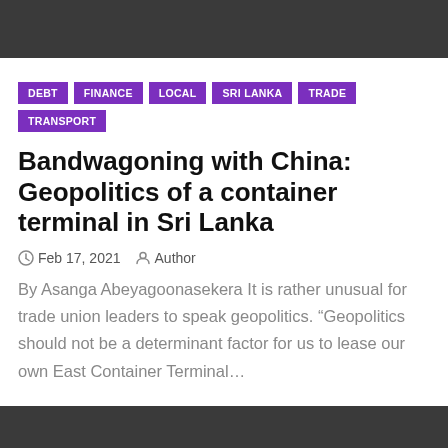[Figure (photo): Dark gray/black banner bar at the top of the page]
DEBT
FINANCE
LOCAL
SRI LANKA
TRADE
TRANSPORT
Bandwagoning with China: Geopolitics of a container terminal in Sri Lanka
Feb 17, 2021  Author
By Asanga Abeyagoonasekera It is rather unusual for trade union leaders to speak geopolitics. “Geopolitics should not be a determinant factor for us to lease our own East Container Terminal…
[Figure (photo): Dark gray/black banner bar at the bottom of the page]